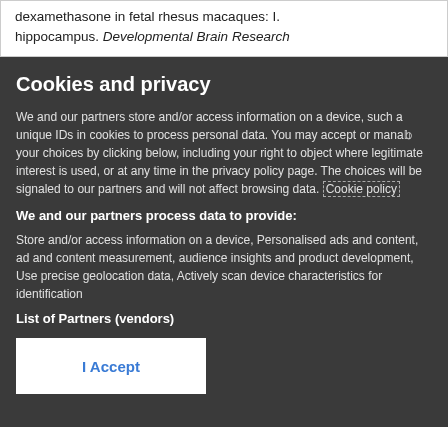dexamethasone in fetal rhesus macaques: I. hippocampus. Developmental Brain Research
Cookies and privacy
We and our partners store and/or access information on a device, such a unique IDs in cookies to process personal data. You may accept or manage your choices by clicking below, including your right to object where legitimate interest is used, or at any time in the privacy policy page. These choices will be signaled to our partners and will not affect browsing data. Cookie policy
We and our partners process data to provide:
Store and/or access information on a device, Personalised ads and content, ad and content measurement, audience insights and product development, Use precise geolocation data, Actively scan device characteristics for identification
List of Partners (vendors)
I Accept